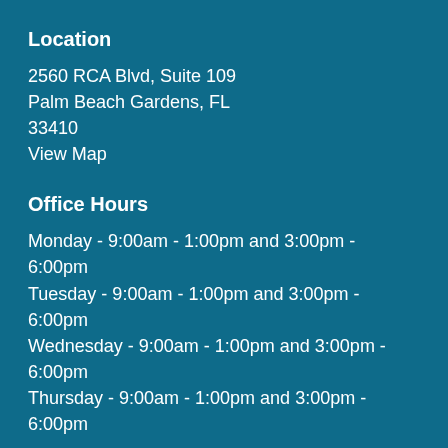Location
2560 RCA Blvd, Suite 109
Palm Beach Gardens, FL
33410
View Map
Office Hours
Monday - 9:00am - 1:00pm and 3:00pm - 6:00pm
Tuesday - 9:00am - 1:00pm and 3:00pm - 6:00pm
Wednesday - 9:00am - 1:00pm and 3:00pm - 6:00pm
Thursday - 9:00am - 1:00pm and 3:00pm - 6:00pm
Contact
Phone: